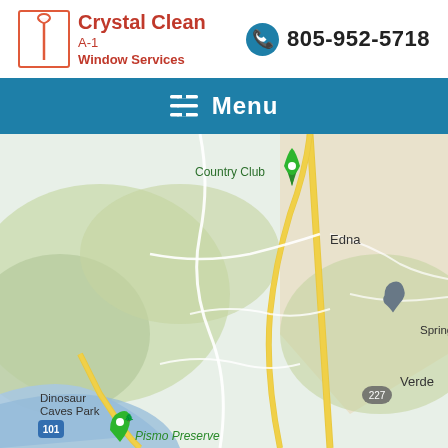[Figure (logo): Crystal Clean A-1 Window Services logo with squeegee icon in red border box]
805-952-5718
Menu
[Figure (map): Google Maps view showing Pismo Beach area including Country Club, Edna, Springdale Pet Ranch, Dinosaur Caves Park, Pismo Preserve, Verde, and Strother area with route 101 and 227]